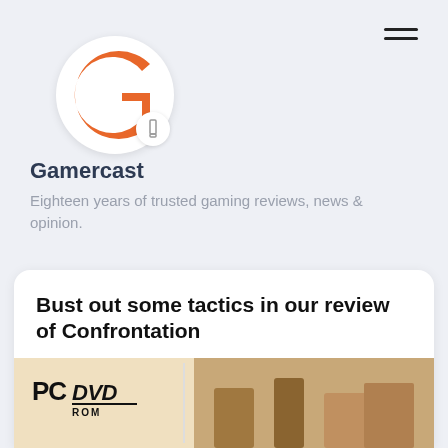[Figure (logo): Gamercast logo: white circle with orange G letter and small white circle overlay with a vertical bar icon]
Gamercast
Eighteen years of trusted gaming reviews, news & opinion.
Bust out some tactics in our review of Confrontation
9 April 2012
[Figure (photo): PC DVD-ROM box art for Confrontation game, showing 'PC DVD ROM' logo on the left and game artwork on the right with a figure in a mountainous environment]